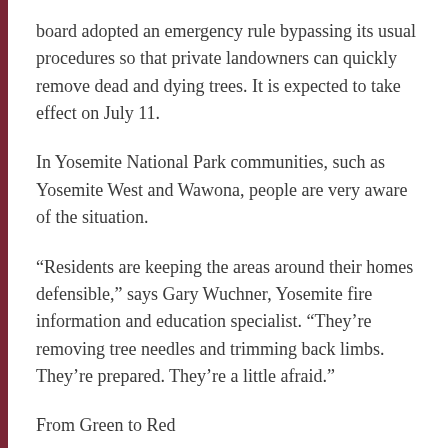board adopted an emergency rule bypassing its usual procedures so that private landowners can quickly remove dead and dying trees. It is expected to take effect on July 11.
In Yosemite National Park communities, such as Yosemite West and Wawona, people are very aware of the situation.
“Residents are keeping the areas around their homes defensible,” says Gary Wuchner, Yosemite fire information and education specialist. “They’re removing tree needles and trimming back limbs. They’re prepared. They’re a little afraid.”
From Green to Red